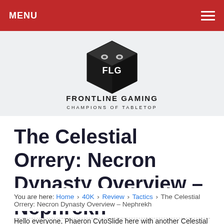MENU
[Figure (logo): Frontline Gaming logo — a stylized dice with FLG text above, 'FRONTLINE GAMING' in bold, 'CHAMPIONS OF TABLETOP' below, on a light gray background]
The Celestial Orrery: Necron Dynasty Overview – Nephrekh
You are here: Home › 40K › Review › Tactics › The Celestial Orrery: Necron Dynasty Overview – Nephrekh
Hello everyone, Phaeron CytoSlide here with another Celestial Orrery